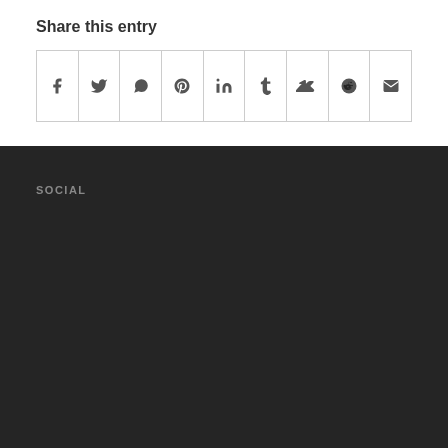Share this entry
[Figure (infographic): A row of 9 social share icon buttons in bordered cells: Facebook (f), Twitter (bird), WhatsApp (phone), Pinterest (p), LinkedIn (in), Tumblr (t), VK (VK), Reddit (alien), Email (envelope)]
SOCIAL